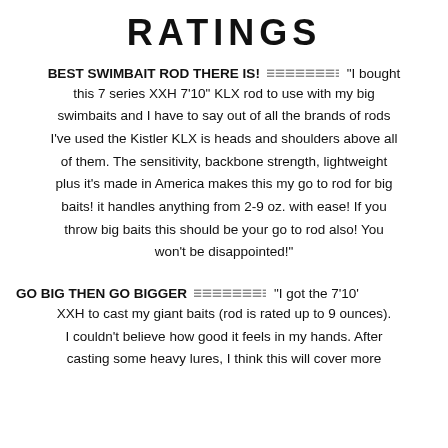RATINGS
BEST SWIMBAIT ROD THERE IS!
"I bought this 7 series XXH 7'10" KLX rod to use with my big swimbaits and I have to say out of all the brands of rods I've used the Kistler KLX is heads and shoulders above all of them. The sensitivity, backbone strength, lightweight plus it's made in America makes this my go to rod for big baits! it handles anything from 2-9 oz. with ease! If you throw big baits this should be your go to rod also! You won't be disappointed!"
GO BIG THEN GO BIGGER
"I got the 7'10' XXH to cast my giant baits (rod is rated up to 9 ounces). I couldn't believe how good it feels in my hands. After casting some heavy lures, I think this will cover more